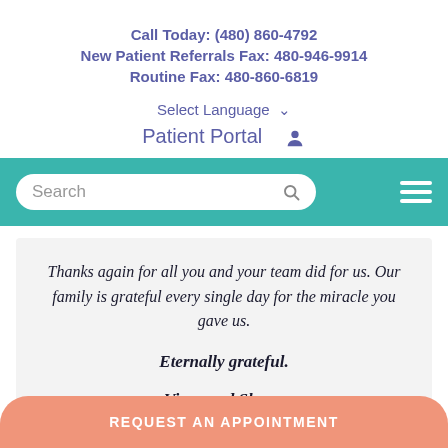Call Today: (480) 860-4792
New Patient Referrals Fax: 480-946-9914
Routine Fax: 480-860-6819
Select Language ▾
Patient Portal 👤
[Figure (screenshot): Teal navigation bar with search box and hamburger menu icon]
Thanks again for all you and your team did for us. Our family is grateful every single day for the miracle you gave us.
Eternally grateful.
Vince and Shona
REQUEST AN APPOINTMENT